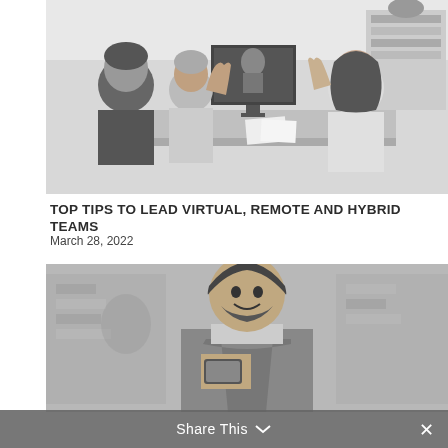[Figure (photo): Black and white photo of four people sitting at a conference table having a video call with a person on a large monitor screen; people are raising hands and engaging with the screen.]
TOP TIPS TO LEAD VIRTUAL, REMOTE AND HYBRID TEAMS
March 28, 2022
[Figure (photo): Black and white photo of a smiling young man wearing an apron, holding a tablet or card reader device, standing in what appears to be a retail or restaurant setting.]
Share This